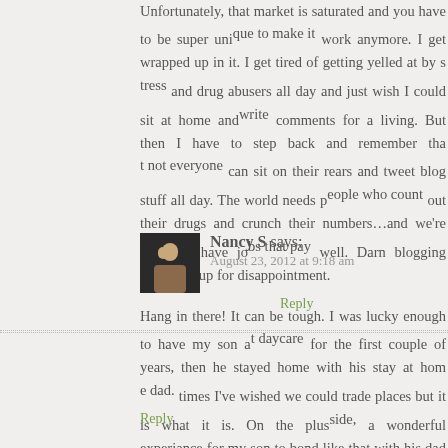Unfortunately, that market is saturated and you have to be super uni... work anymore. I get wrapped up in it. I get tired of getting yelled at by s... and drug abusers all day and just wish I could sit at home and... comments for a living. But then I have to step back and remember tha... can sit on their rears and tweet blog stuff all day. The world needs p... out their drugs and crunch their numbers…and we're lucky to have jo... well. Darn blogging setting us up for disappointment.
Reply
Nancy S says:
August 23, 2012 at 9:18 am
Hang in there! It can be tough. I was lucky enough to have my son a... for the first couple of years, then he stayed home with his stay at hom... times I've wished we could trade places but it is what it is. On the plus... a wonderful experiance for my son to bond like that with his dad... husband wouldn't have traded a minute of any of it, well, I'm sure he w... his hair out a few times in the beginning – just like any other stay at ho...
Reply